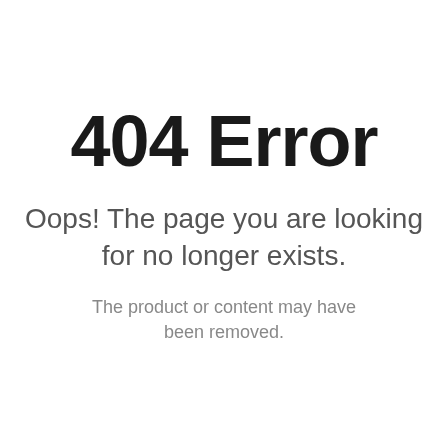404 Error
Oops! The page you are looking for no longer exists.
The product or content may have been removed.